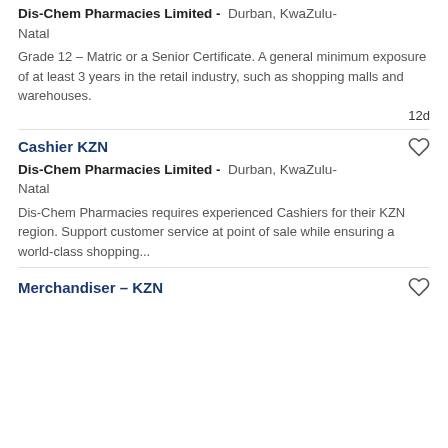Dis-Chem Pharmacies Limited - Durban, KwaZulu-Natal
Grade 12 – Matric or a Senior Certificate. A general minimum exposure of at least 3 years in the retail industry, such as shopping malls and warehouses.
12d
Cashier KZN
Dis-Chem Pharmacies Limited - Durban, KwaZulu-Natal
Dis-Chem Pharmacies requires experienced Cashiers for their KZN region. Support customer service at point of sale while ensuring a world-class shopping...
Merchandiser – KZN